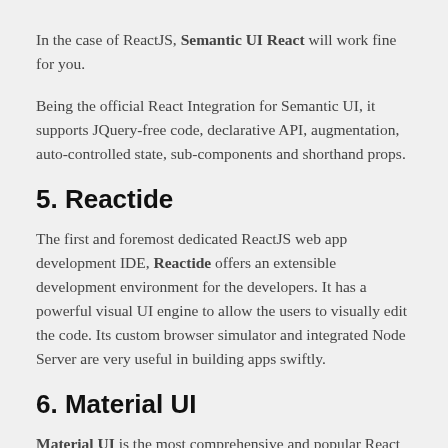In the case of ReactJS, Semantic UI React will work fine for you.
Being the official React Integration for Semantic UI, it supports JQuery-free code, declarative API, augmentation, auto-controlled state, sub-components and shorthand props.
5. Reactide
The first and foremost dedicated ReactJS web app development IDE, Reactide offers an extensible development environment for the developers. It has a powerful visual UI engine to allow the users to visually edit the code. Its custom browser simulator and integrated Node Server are very useful in building apps swiftly.
6. Material UI
Material UI is the most comprehensive and popular React UI